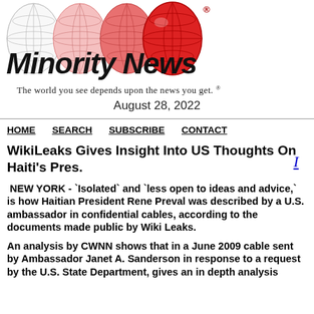[Figure (logo): Minority News logo with globe graphics and bold italic text]
The world you see depends upon the news you get. ®
August 28, 2022
HOME   SEARCH   SUBSCRIBE   CONTACT
WikiLeaks Gives Insight Into US Thoughts On Haiti's Pres.
NEW YORK - `Isolated` and `less open to ideas and advice,` is how Haitian President Rene Preval was described by a U.S. ambassador in confidential cables, according to the documents made public by Wiki Leaks.
An analysis by CWNN shows that in a June 2009 cable sent by Ambassador Janet A. Sanderson in response to a request by the U.S. State Department, gives an in depth analysis